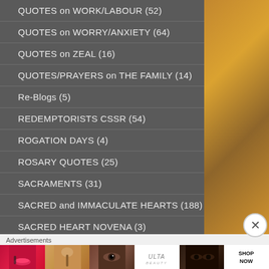QUOTES on WORK/LABOUR (52)
QUOTES on WORRY/ANXIETY (64)
QUOTES on ZEAL (16)
QUOTES/PRAYERS on THE FAMILY (14)
Re-Blogs (5)
REDEMPTORISTS CSSR (54)
ROGATION DAYS (4)
ROSARY QUOTES (25)
SACRAMENTS (31)
SACRED and IMMACULATE HEARTS (188)
SACRED HEART NOVENA (3)
Advertisements
[Figure (photo): Ulta Beauty advertisement banner showing cosmetics/makeup imagery with SHOP NOW call to action]